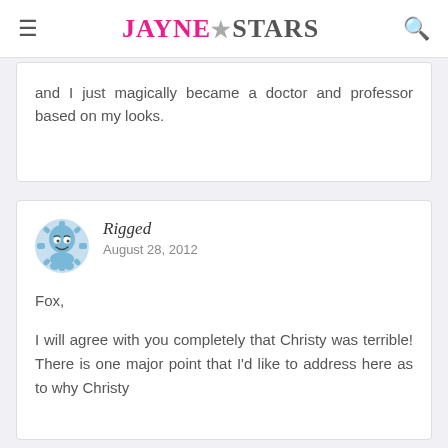≡  JAYNE★STARS  🔍
and I just magically became a doctor and professor based on my looks.
Rigged
August 28, 2012

Fox,

I will agree with you completely that Christy was terrible! There is one major point that I'd like to address here as to why Christy